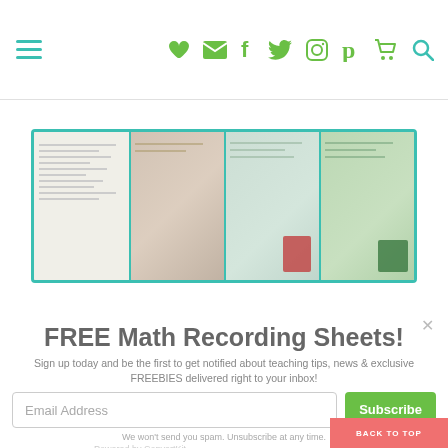Navigation bar with hamburger menu and social/action icons: heart, email, facebook, twitter, instagram, pinterest, cart, search
[Figure (photo): A strip of educational math recording worksheet printouts with teal border, showing multiple worksheet panels side by side]
FREE Math Recording Sheets!
Sign up today and be the first to get notified about teaching tips, news & exclusive FREEBIES delivered right to your inbox!
Email Address [input field] Subscribe [button]
We won't send you spam. Unsubscribe at any time.
Powered by ConvertKit
BACK TO TOP